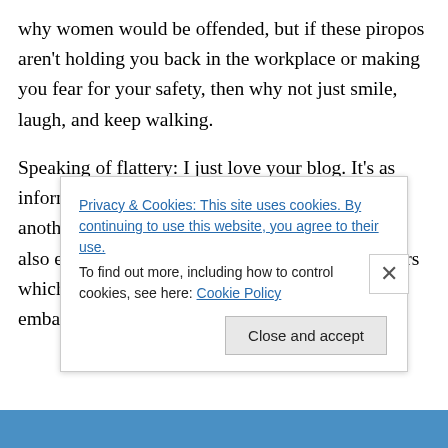why women would be offended, but if these piropos aren't holding you back in the workplace or making you fear for your safety, then why not just smile, laugh, and keep walking.
Speaking of flattery: I just love your blog. It's as informative as it is amusing, and it's nice to have another perspective on such an interesting place. I also enjoy reading the comments from your readers which are enlightening (and sometimes embarassing). I really wanted to
Privacy & Cookies: This site uses cookies. By continuing to use this website, you agree to their use.
To find out more, including how to control cookies, see here: Cookie Policy
Close and accept